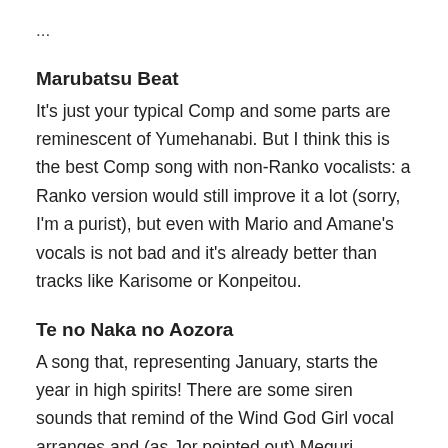...
Marubatsu Beat
It's just your typical Comp and some parts are reminescent of Yumehanabi. But I think this is the best Comp song with non-Ranko vocalists: a Ranko version would still improve it a lot (sorry, I'm a purist), but even with Mario and Amane's vocals is not bad and it's already better than tracks like Karisome or Konpeitou.
Te no Naka no Aozora
A song that, representing January, starts the year in high spirits! There are some siren sounds that remind of the Wind God Girl vocal arranges and (as Jor pointed out) Meguri Meguru, which are